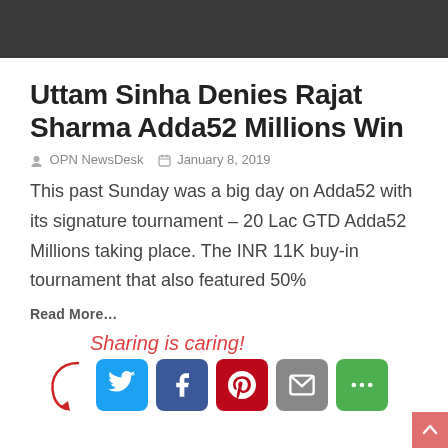[Figure (other): Dark gray header banner bar]
Uttam Sinha Denies Rajat Sharma Adda52 Millions Win
OPN NewsDesk  January 8, 2019
This past Sunday was a big day on Adda52 with its signature tournament – 20 Lac GTD Adda52 Millions taking place. The INR 11K buy-in tournament that also featured 50%
Read More...
[Figure (infographic): Sharing is caring! section with arrow graphic and social share buttons: Twitter, Facebook, Pinterest, Email, More]